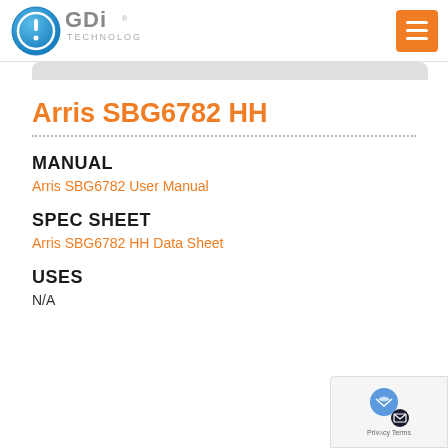[Figure (logo): GDi Technology logo with blue circle icon and orange menu button in header]
Arris SBG6782 HH
MANUAL
Arris SBG6782 User Manual
SPEC SHEET
Arris SBG6782 HH Data Sheet
USES
N/A